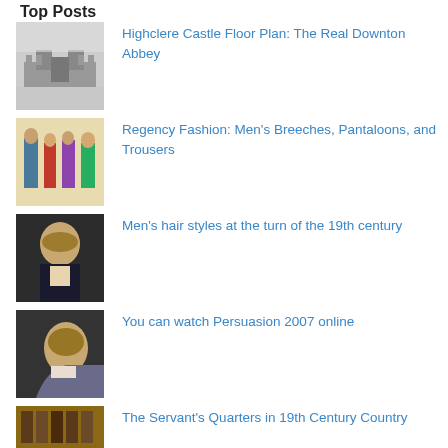Top Posts
Highclere Castle Floor Plan: The Real Downton Abbey
Regency Fashion: Men's Breeches, Pantaloons, and Trousers
Men's hair styles at the turn of the 19th century
You can watch Persuasion 2007 online
The Servant's Quarters in 19th Century Country